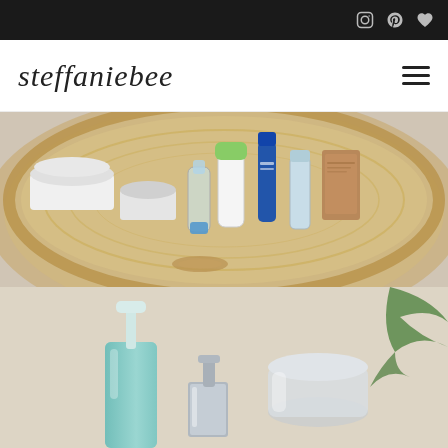Navigation bar with social icons (Instagram, Pinterest, heart/wishlist)
steffaniebee
[Figure (photo): Overhead view of a wooden round tray containing various skincare products including white jars, a blue tube, a green-capped bottle, a clear serum bottle, and other containers]
[Figure (photo): Close-up of skincare bottles on a beige surface: a mint/teal pump bottle, a silver square pump, and a frosted round container, with a green plant leaf visible in the upper right]